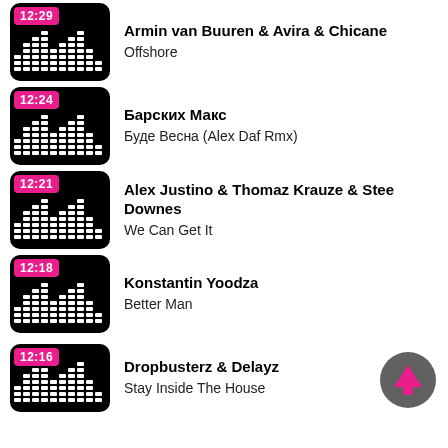Armin van Buuren & Avira & Chicane – Offshore [12:29]
Барских Макс – Буде Весна (Alex Daf Rmx) [12:24]
Alex Justino & Thomaz Krauze & Stee Downes – We Can Get It [12:21]
Konstantin Yoodza – Better Man [12:18]
Dropbusterz & Delayz – Stay Inside The House [12:16]
[Figure (illustration): Upload/arrow-up button circle icon, grey background with pink arrow]